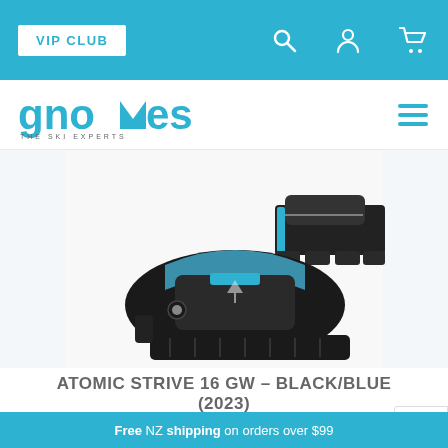VIP CLUB
[Figure (logo): Gnomes - The Ski Experts logo in blue text]
[Figure (photo): Atomic Strive 16 GW ski binding in black and blue colorway, shown from the side and top angle]
ATOMIC STRIVE 16 GW – BLACK/BLUE (2023)
$549.90
Free NZ shipping on orders over $99